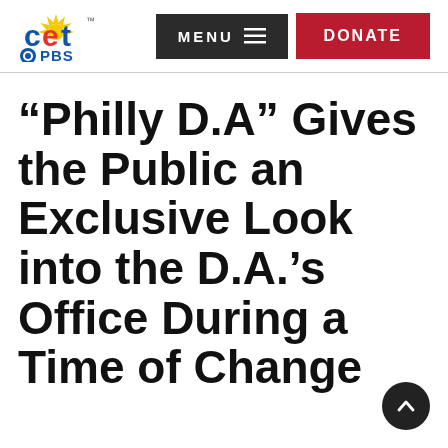[Figure (logo): CET PBS logo in header]
[Figure (screenshot): MENU button with hamburger icon]
[Figure (screenshot): DONATE button in red]
“Philly D.A” Gives the Public an Exclusive Look into the D.A.’s Office During a Time of Change